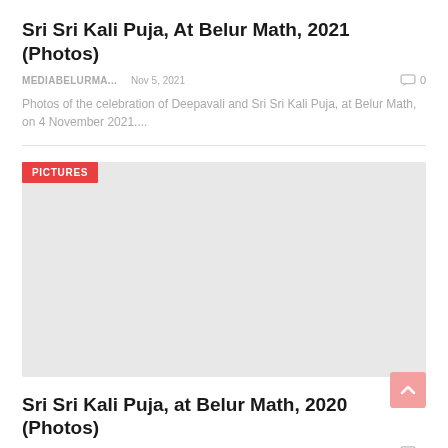Sri Sri Kali Puja, At Belur Math, 2021 (Photos)
MEDIABELURMA...   Nov 5, 2021   0
Photos of the celebration of Deepavali and Sri Sri Kali Puja, at Belur Math, on 4 November 2021....
[Figure (photo): Large placeholder image area with a red 'PICTURES' tag label in the top-left corner. The image itself is a grey/light placeholder rectangle.]
Sri Sri Kali Puja, at Belur Math, 2020 (Photos)
MEDIABELURMA...   Nov 15, 2020   0